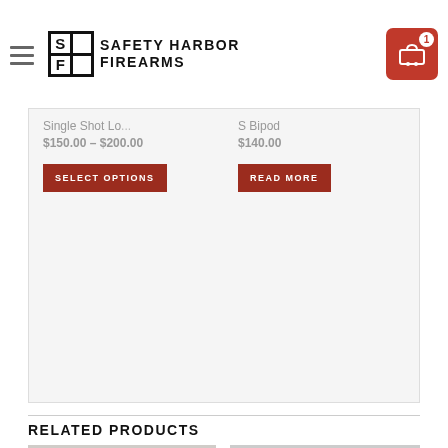Safety Harbor Firearms
Single Shot Lo... $150.00 – $200.00
...S Bipod $140.00
SELECT OPTIONS
READ MORE
RELATED PRODUCTS
[Figure (photo): Close-up photo of a black perforated muzzle brake / solvent trap firearm accessory]
[Figure (photo): Photo of a KES MP5 pattern firearm (submachine gun style) in black, shown in profile with text 'KES MP5 pattern' overlaid]